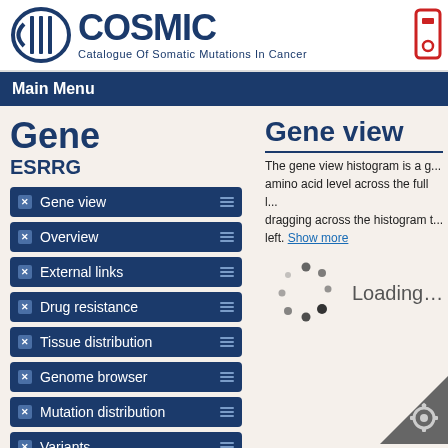COSMIC - Catalogue Of Somatic Mutations In Cancer
Main Menu
Gene
ESRRG
Gene view
Overview
External links
Drug resistance
Tissue distribution
Genome browser
Mutation distribution
Variants
References
Reset page
Gene view
The gene view histogram is a g... amino acid level across the full l... dragging across the histogram t... left. Show more
[Figure (other): Loading spinner animation with dots in a circular pattern and 'Loading...' text]